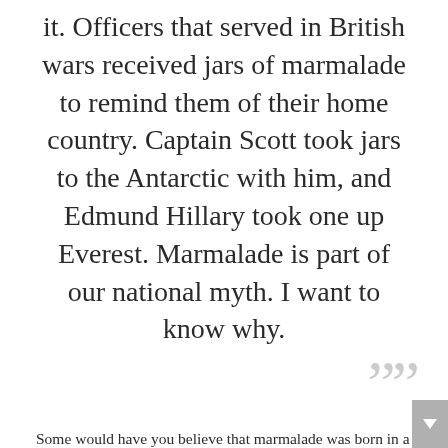it. Officers that served in British wars received jars of marmalade to remind them of their home country. Captain Scott took jars to the Antarctic with him, and Edmund Hillary took one up Everest. Marmalade is part of our national myth. I want to know why.
””
Some would have you believe that marmalade was born in a vacuum. That, like Post-it notes or penicillin, it was invented all of a sudden, brought about by a confluence of unlikely factors. The story goes like this: it was a dark and stormy night. The rain fell in torrents, and a Spanish cargo ship was forced to take an unscheduled dock in Dundee, though it could as well have been anywhere; any port in a storm. Its cargo: oranges. A Dundee